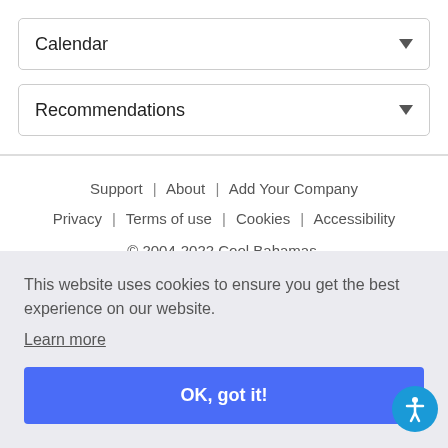Calendar
Recommendations
Support | About | Add Your Company | Privacy | Terms of use | Cookies | Accessibility | © 2004-2022 Cool Bahamas.
This website uses cookies to ensure you get the best experience on our website.
Learn more
OK, got it!